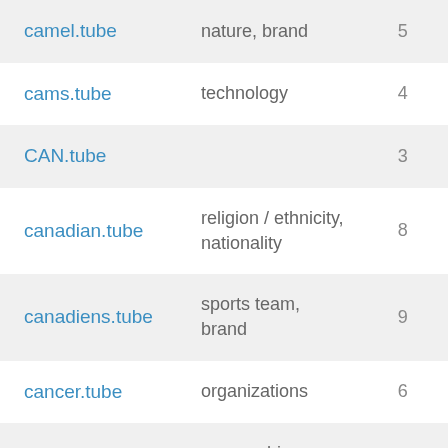| Domain | Category | Number |
| --- | --- | --- |
| camel.tube | nature, brand | 5 |
| cams.tube | technology | 4 |
| CAN.tube |  | 3 |
| canadian.tube | religion / ethnicity, nationality | 8 |
| canadiens.tube | sports team, brand | 9 |
| cancer.tube | organizations | 6 |
|  | geographic, |  |